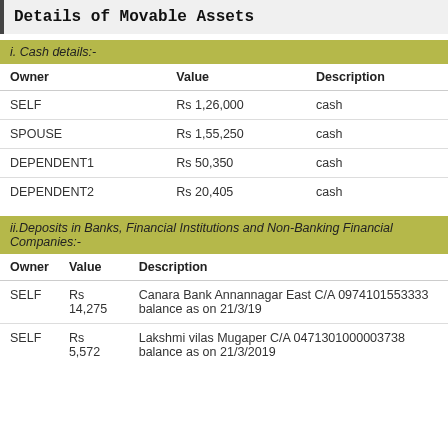Details of Movable Assets
i. Cash details:-
| Owner | Value | Description |
| --- | --- | --- |
| SELF | Rs 1,26,000 | cash |
| SPOUSE | Rs 1,55,250 | cash |
| DEPENDENT1 | Rs 50,350 | cash |
| DEPENDENT2 | Rs 20,405 | cash |
ii.Deposits in Banks, Financial Institutions and Non-Banking Financial Companies:-
| Owner | Value | Description |
| --- | --- | --- |
| SELF | Rs 14,275 | Canara Bank Annannagar East C/A 0974101553333 balance as on 21/3/19 |
| SELF | Rs 5,572 | Lakshmi vilas Mugaper C/A 0471301000003738 balance as on 21/3/2019 |